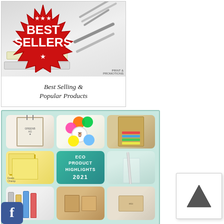[Figure (illustration): Best Sellers promotional catalog image with red starburst badge showing 'BEST SELLERS' text over office products background, with italic text 'Best Selling & Popular Products' at bottom]
[Figure (illustration): Eco Product Highlights 2021 catalog image on teal background with 3x3 grid of eco product photos: tote bag, flower highlighters, pencil case, sticky notes with owl logo, central teal tile with 'ECO PRODUCT HIGHLIGHTS 2021', metal straw in glass, markers, kraft boxes, bamboo items]
[Figure (logo): Facebook 'f' logo icon in blue rounded square]
[Figure (illustration): Up arrow navigation button in white box with shadow]